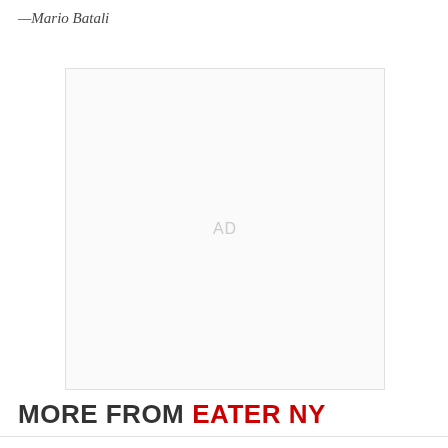—Mario Batali
[Figure (other): Advertisement placeholder box with 'AD' label centered inside a light gray bordered rectangle]
MORE FROM EATER NY